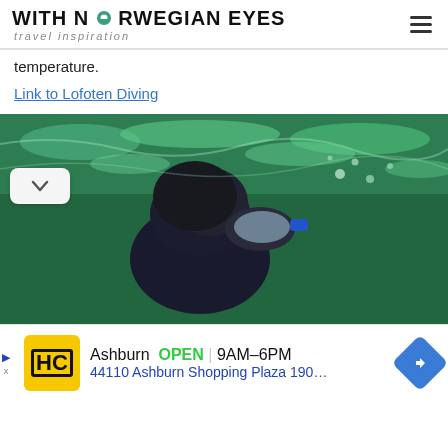WITH NORWEGIAN EYES — travel inspiration
temperature.
Link to Lofoten Diving
[Figure (photo): Underwater photograph of a diver in a wetsuit and diving mask, viewed from below the water surface. The water appears green with light reflections on the surface above.]
Ashburn OPEN | 9AM–6PM
44110 Ashburn Shopping Plaza 190, A...